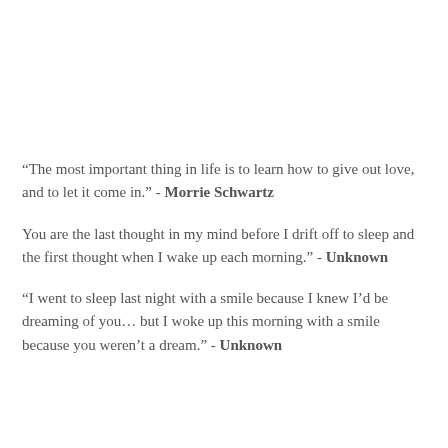“The most important thing in life is to learn how to give out love, and to let it come in.” - Morrie Schwartz
You are the last thought in my mind before I drift off to sleep and the first thought when I wake up each morning.” - Unknown
“I went to sleep last night with a smile because I knew I’d be dreaming of you… but I woke up this morning with a smile because you weren’t a dream.” - Unknown